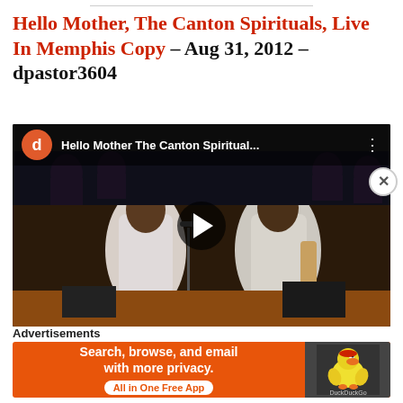Hello Mother, The Canton Spirituals, Live In Memphis Copy – Aug 31, 2012 – dpastor3604
[Figure (screenshot): YouTube video thumbnail showing two men in suits on stage at a live gospel concert. An orange avatar with letter 'd' and video title 'Hello Mother The Canton Spiritual...' are shown in the overlay bar. A play button is centered on the video.]
Advertisements
[Figure (screenshot): DuckDuckGo advertisement banner: orange background with text 'Search, browse, and email with more privacy.' and 'All in One Free App' button on the left; DuckDuckGo duck logo on dark background on the right.]